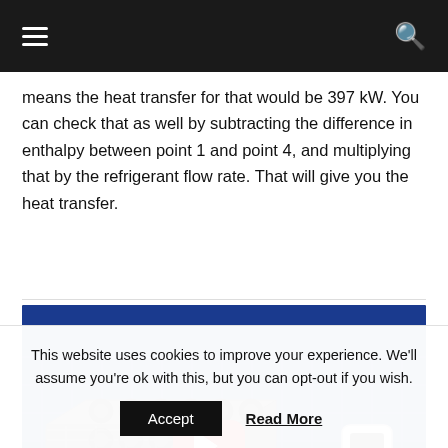means the heat transfer for that would be 397 kW. You can check that as well by subtracting the difference in enthalpy between point 1 and point 4, and multiplying that by the refrigerant flow rate. That will give you the heat transfer.
[Figure (screenshot): YouTube video thumbnail for 'How Air Cooled Chiller Works - Ad...' showing an Air Cooled Chiller Design with a 3D model of an air-cooled chiller unit and a red YouTube play button overlay.]
This website uses cookies to improve your experience. We'll assume you're ok with this, but you can opt-out if you wish.
Accept   Read More